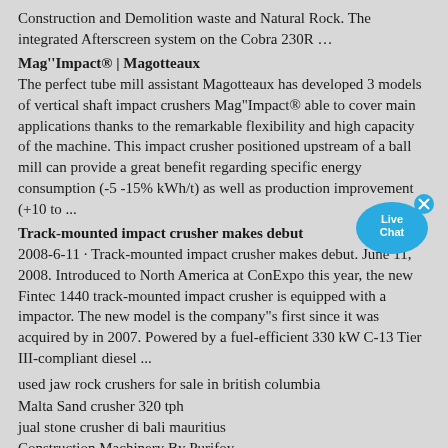Construction and Demolition waste and Natural Rock. The integrated Afterscreen system on the Cobra 230R …
Mag''Impact® | Magotteaux
The perfect tube mill assistant Magotteaux has developed 3 models of vertical shaft impact crushers Mag"Impact® able to cover main applications thanks to the remarkable flexibility and high capacity of the machine. This impact crusher positioned upstream of a ball mill can provide a great benefit regarding specific energy consumption (-5 -15% kWh/t) as well as production improvement (+10 to ...
[Figure (illustration): Live Chat speech bubble icon in teal/blue color with 'Live Chat' text and an x close button]
Track-mounted impact crusher makes debut
2008-6-11 · Track-mounted impact crusher makes debut. June 11, 2008. Introduced to North America at ConExpo this year, the new Fintec 1440 track-mounted impact crusher is equipped with a impactor. The new model is the company"s first since it was acquired by in 2007. Powered by a fuel-efficient 330 kW C-13 Tier III-compliant diesel ...
used jaw rock crushers for sale in british columbia
Malta Sand crusher 320 tph
jual stone crusher di bali mauritius
Construction Machinery By Purifoy
805 tph Jaw crusher Togo
jaw crusher dealers in canada
track mounted crushers in india